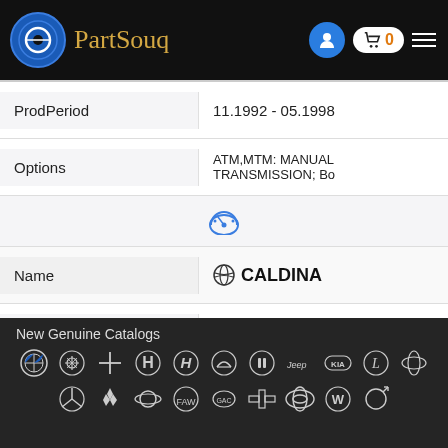PartSouq
| Field | Value |
| --- | --- |
| ProdPeriod | 11.1992 - 05.1998 |
| Options | ATM,MTM: MANUAL TRANSMISSION; Bo |
|  |  |
| Name | CALDINA |
| Model | CT199V-DXMDE |
| Description | AT191,CT19#,ET196,ST19# |
| ProdPeriod | 05.1998 - 06.2002 |
New Genuine Catalogs
[Figure (logo): Row of automotive brand logos on dark background: BMW, Chrysler, Mitsubishi, Honda, Hyundai, Infiniti, Buick, Jeep, KIA, Lexus, Mazda — second row: Mercedes-Benz, Mitsubishi, Saturn, FAW, GAC, Chevrolet, Toyota, Volkswagen, Volvo]